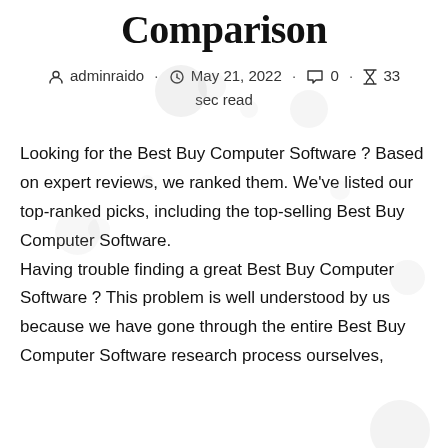Comparison
adminraido · May 21, 2022 · 0 · 33 sec read
Looking for the Best Buy Computer Software ? Based on expert reviews, we ranked them. We've listed our top-ranked picks, including the top-selling Best Buy Computer Software. Having trouble finding a great Best Buy Computer Software ? This problem is well understood by us because we have gone through the entire Best Buy Computer Software research process ourselves,